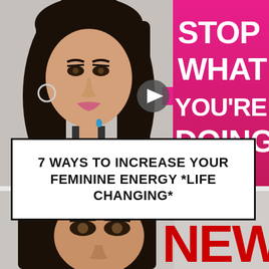[Figure (screenshot): Video thumbnail showing a young woman with dark hair and makeup on the left, a pink box on the right with bold white text reading STOP WHAT YOU'RE DOING, and a play button with pink arrow in the center]
7 WAYS TO INCREASE YOUR FEMININE ENERGY *LIFE CHANGING*
[Figure (screenshot): Bottom portion of another video thumbnail showing a young woman's face with dark hair and makeup, with large red text reading NEW on the right side]